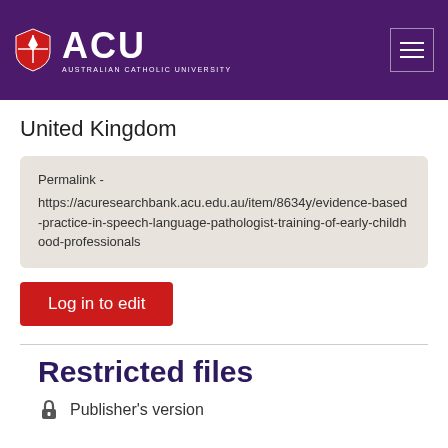[Figure (logo): ACU Australian Catholic University logo with shield emblem on purple header background with hamburger menu icon]
United Kingdom
Permalink - https://acuresearchbank.acu.edu.au/item/8634y/evidence-based-practice-in-speech-language-pathologist-training-of-early-childhood-professionals
Log in to edit
Restricted files
Publisher's version